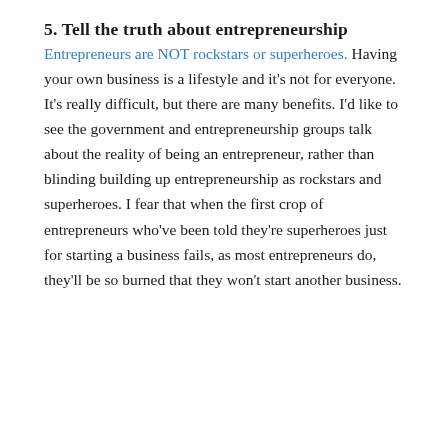5. Tell the truth about entrepreneurship
Entrepreneurs are NOT rockstars or superheroes. Having your own business is a lifestyle and it’s not for everyone. It’s really difficult, but there are many benefits. I’d like to see the government and entrepreneurship groups talk about the reality of being an entrepreneur, rather than blinding building up entrepreneurship as rockstars and superheroes. I fear that when the first crop of entrepreneurs who’ve been told they’re superheroes just for starting a business fails, as most entrepreneurs do, they’ll be so burned that they won’t start another business.